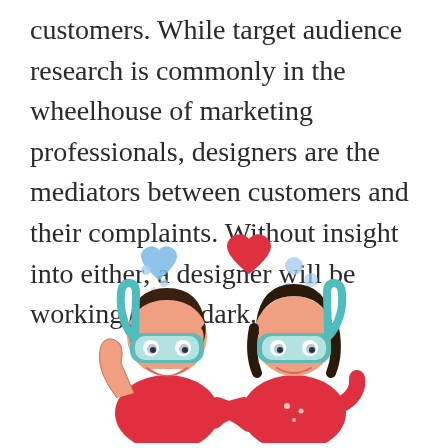customers. While target audience research is commonly in the wheelhouse of marketing professionals, designers are the mediators between customers and their complaints. Without insight into either, a designer will be working in the dark.
[Figure (illustration): Cartoon illustration of two children wearing snorkeling masks and snorkels, facing each other. Blue and red heart symbols float above them along with bubbles. Both children wear red shirts.]